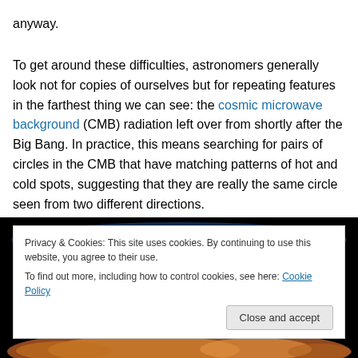anyway.
To get around these difficulties, astronomers generally look not for copies of ourselves but for repeating features in the farthest thing we can see: the cosmic microwave background (CMB) radiation left over from shortly after the Big Bang. In practice, this means searching for pairs of circles in the CMB that have matching patterns of hot and cold spots, suggesting that they are really the same circle seen from two different directions.
[Figure (photo): Cosmic microwave background (CMB) radiation map image, partially visible, showing blue and orange color patterns against a black background. A cookie consent banner overlays the image.]
Privacy & Cookies: This site uses cookies. By continuing to use this website, you agree to their use.
To find out more, including how to control cookies, see here: Cookie Policy